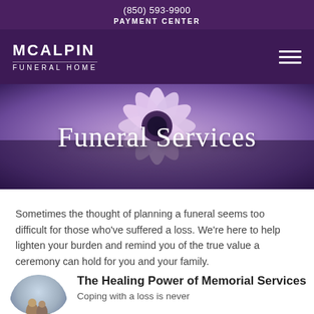(850) 593-9900
PAYMENT CENTER
[Figure (logo): McAlpin Funeral Home logo with text MCALPIN FUNERAL HOME in white on dark purple background, with hamburger menu icon on right]
[Figure (photo): Hero image showing close-up of a purple/lavender daisy flower with white petals, overlaid with large white text 'Funeral Services']
Funeral Services
Sometimes the thought of planning a funeral seems too difficult for those who've suffered a loss. We're here to help lighten your burden and remind you of the true value a ceremony can hold for you and your family.
[Figure (photo): Circular framed photo of two people (from behind) at what appears to be a cemetery or outdoor memorial setting]
The Healing Power of Memorial Services
Coping with a loss is never